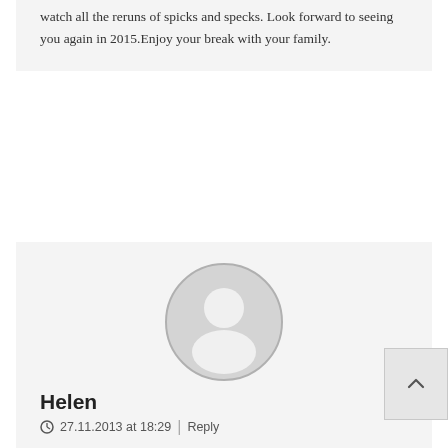watch all the reruns of spicks and specks. Look forward to seeing you again in 2015.Enjoy your break with your family.
[Figure (illustration): Generic user avatar circle icon with silhouette of a person]
Helen
27.11.2013 at 18:29 | Reply
Wishing you all the very best. Thank you for the entertainment. Good to know you'll still be around. Enjoy the respite and your little family. Regards Helen